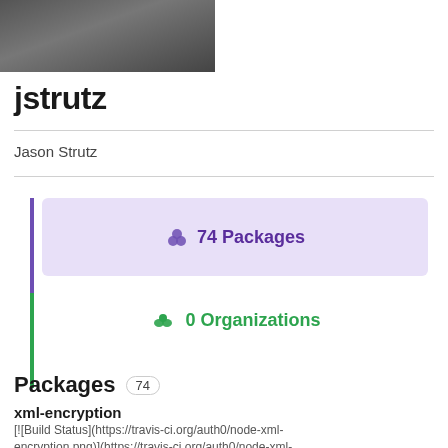[Figure (photo): Partial profile photo of jstrutz, dark tones, top portion of person visible]
jstrutz
Jason Strutz
74 Packages
0 Organizations
Packages 74
xml-encryption
[![Build Status](https://travis-ci.org/auth0/node-xml-encryption.png)](https://travis-ci.org/auth0/node-xml-